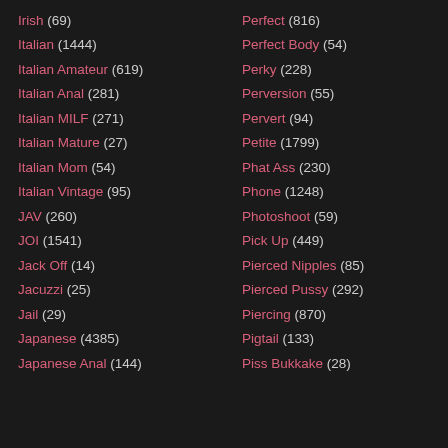Irish (69)
Italian (1444)
Italian Amateur (619)
Italian Anal (281)
Italian MILF (271)
Italian Mature (27)
Italian Mom (54)
Italian Vintage (95)
JAV (260)
JOI (1541)
Jack Off (14)
Jacuzzi (25)
Jail (29)
Japanese (4385)
Japanese Anal (144)
Perfect (816)
Perfect Body (54)
Perky (228)
Perversion (55)
Pervert (94)
Petite (1799)
Phat Ass (230)
Phone (1248)
Photoshoot (59)
Pick Up (449)
Pierced Nipples (85)
Pierced Pussy (292)
Piercing (870)
Pigtail (133)
Piss Bukkake (28)